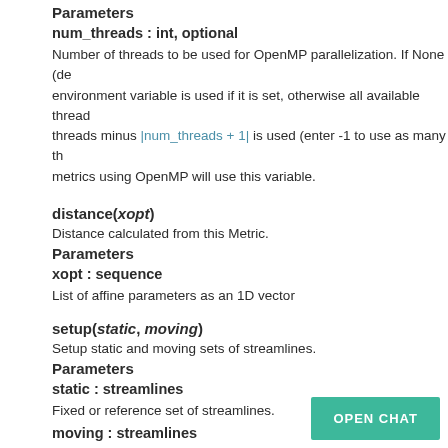Parameters
num_threads :  int, optional
Number of threads to be used for OpenMP parallelization. If None (de environment variable is used if it is set, otherwise all available thread threads minus |num_threads + 1| is used (enter -1 to use as many th metrics using OpenMP will use this variable.
distance(xopt)
Distance calculated from this Metric.
Parameters
xopt :  sequence
List of affine parameters as an 1D vector
setup(static, moving)
Setup static and moving sets of streamlines.
Parameters
static :  streamlines
Fixed or reference set of streamlines.
moving :  streamlines
Moving streamlines.